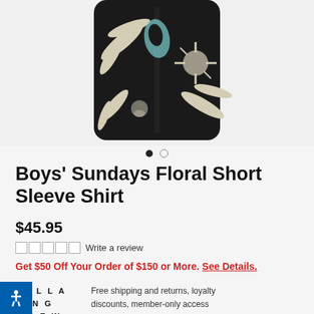[Figure (photo): Boys' floral short sleeve shirt on white background, black shirt with palm leaf/tropical floral print in cream and teal, shown folded/flat]
● ○
Boys' Sundays Floral Short Sleeve Shirt
$45.95
□□□□□ Write a review
Get $50 Off Your Order of $150 or More. See Details.
BILLABONG CREW  Free shipping and returns, loyalty discounts, member-only access and more. Sign In or Join Now